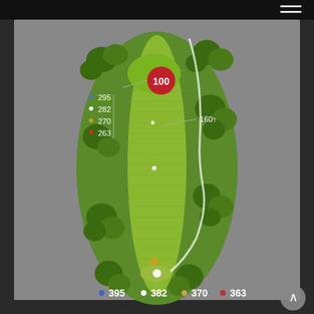[Figure (other): Aerial/top-down illustrated map of a golf hole (hole layout). The fairway runs vertically from bottom to top, surrounded by rough and trees. At the top is the green with a red circle marked '100'. Distance markers on the left side read 295, 282, 270, 263. A marker on the right side reads '160↑'. At the bottom, colored dot distance indicators show: blue dot 395, white dot 382, tan dot 370, red dot 363.]